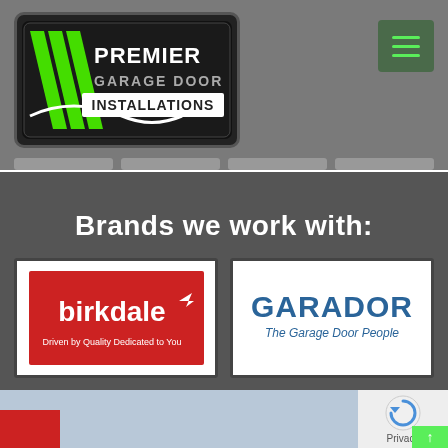[Figure (logo): Premier Garage Door Installations logo with green stripes and white text on black background]
[Figure (infographic): Hamburger menu icon button in dark green with three green horizontal lines]
Brands we work with:
[Figure (logo): Birkdale logo - white text on red background reading 'birkdale' with tagline 'Driven by Quality Dedicated to You']
[Figure (logo): Garador logo - blue text reading 'GARADOR' with tagline 'The Garage Door People']